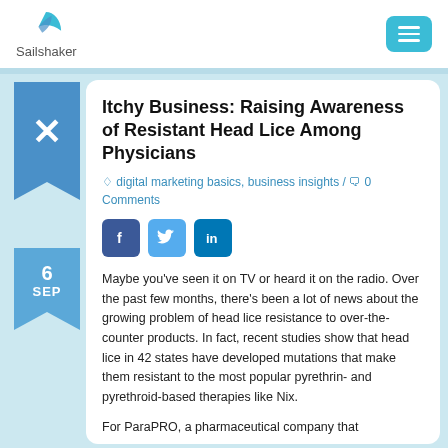Sailshaker
Itchy Business: Raising Awareness of Resistant Head Lice Among Physicians
digital marketing basics, business insights / 0 Comments
6 SEP
Maybe you've seen it on TV or heard it on the radio. Over the past few months, there's been a lot of news about the growing problem of head lice resistance to over-the-counter products. In fact, recent studies show that head lice in 42 states have developed mutations that make them resistant to the most popular pyrethrin- and pyrethroid-based therapies like Nix.
For ParaPRO, a pharmaceutical company that...